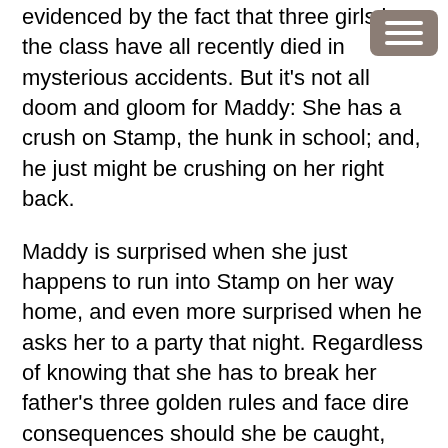evidenced by the fact that three girls in the class have all recently died in mysterious accidents. But it's not all doom and gloom for Maddy: She has a crush on Stamp, the hunk in school; and, he just might be crushing on her right back.
Maddy is surprised when she just happens to run into Stamp on her way home, and even more surprised when he asks her to a party that night. Regardless of knowing that she has to break her father's three golden rules and face dire consequences should she be caught, Maddy agrees.
On her way to the party, Maddy is struck by lightning and wakes up, face down, in a mud puddle—but mud is the least of her problems. After returning home and peering at the smoking crater in her head, the lack of a heartbeat, and her newfound ability to live without breathing—not to mention taking an online quiz confirming her suspicions—Maddy